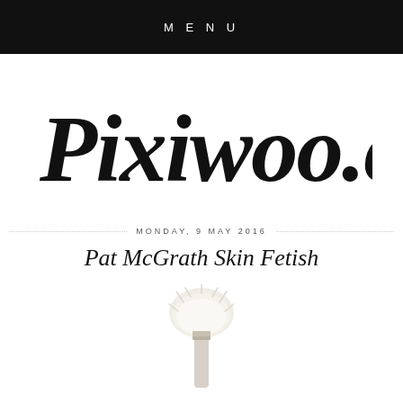MENU
[Figure (logo): Pixiwoo.com handwritten script logo in black ink on white background]
MONDAY, 9 MAY 2016
Pat McGrath Skin Fetish
[Figure (photo): Close-up of a fluffy white makeup brush on a white background]